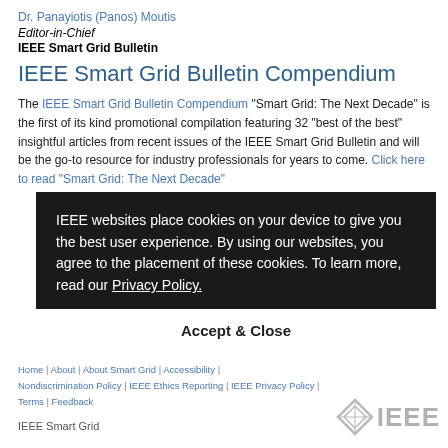Dr. Panayiotis (Panos) Moutis
Editor-in-Chief
IEEE Smart Grid Bulletin
IEEE Smart Grid Bulletin Compendium
The IEEE Smart Grid Bulletin Compendium "Smart Grid: The Next Decade" is the first of its kind promotional compilation featuring 32 "best of the best" insightful articles from recent issues of the IEEE Smart Grid Bulletin and will be the go-to resource for industry professionals for years to come. Click here to read "Smart Grid: The Next Decade"
IEEE websites place cookies on your device to give you the best user experience. By using our websites, you agree to the placement of these cookies. To learn more, read our Privacy Policy.
Accept & Close
Home | About | About Smart Grid | Accessibility | Nondiscrimination Policy | IEEE Ethics Reporting | IEEE Privacy Policy | Terms | Feedback
IEEE Smart Grid